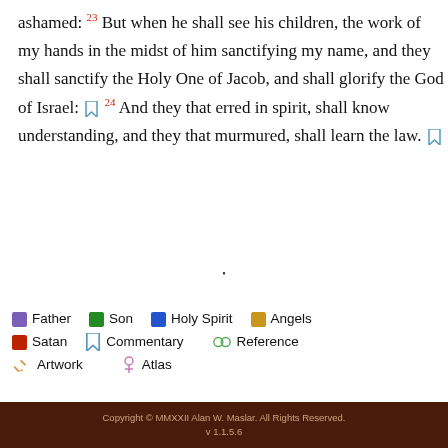ashamed: ²³ But when he shall see his children, the work of my hands in the midst of him sanctifying my name, and they shall sanctify the Holy One of Jacob, and shall glorify the God of Israel: [bookmark] ²⁴ And they that erred in spirit, shall know understanding, and they that murmured, shall learn the law. [bookmark]
Father | Son | Holy Spirit | Angels | Satan | Commentary | Reference | Artwork | Atlas
Copyright © MMXXII Alan W. Maslar. All Rights Reserved. v 1.1.5.6